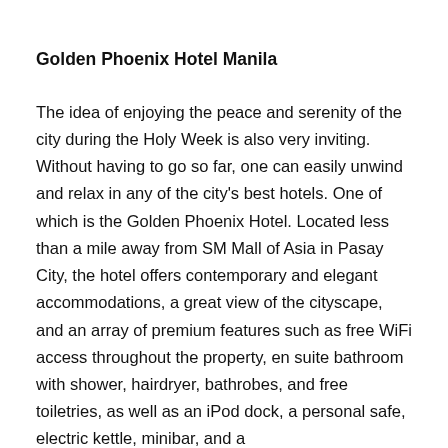Golden Phoenix Hotel Manila
The idea of enjoying the peace and serenity of the city during the Holy Week is also very inviting. Without having to go so far, one can easily unwind and relax in any of the city's best hotels. One of which is the Golden Phoenix Hotel. Located less than a mile away from SM Mall of Asia in Pasay City, the hotel offers contemporary and elegant accommodations, a great view of the cityscape, and an array of premium features such as free WiFi access throughout the property, en suite bathroom with shower, hairdryer, bathrobes, and free toiletries, as well as an iPod dock, a personal safe, electric kettle, minibar, and a